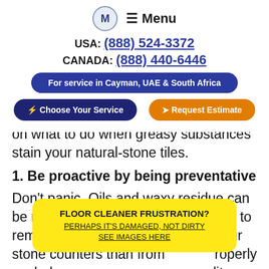M   ≡ Menu
USA: (888) 524-3372
CANADA: (888) 440-6446
For service in Cayman, UAE & South Africa
⚡ Choose Your Service    ➤ Request Estimate
on what to do when greasy substances stain your natural-stone tiles.
1. Be proactive by being preventative
Don't panic. Oils and waxy residue can be removed. However, it is far easier to remove them from the surface of your stone counters than from … properly sealed ev… you are a quality degreaser wipe away from clean.
FLOOR CLEANER FRUSTRATION?
PERHAPS IT'S DAMAGED, NOT DIRTY
SEE IMAGES HERE